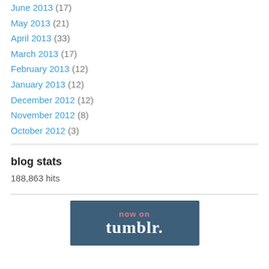June 2013 (17)
May 2013 (21)
April 2013 (33)
March 2013 (17)
February 2013 (12)
January 2013 (12)
December 2012 (12)
November 2012 (8)
October 2012 (3)
blog stats
188,863 hits
[Figure (logo): now on tumblr. logo badge on dark blue background]